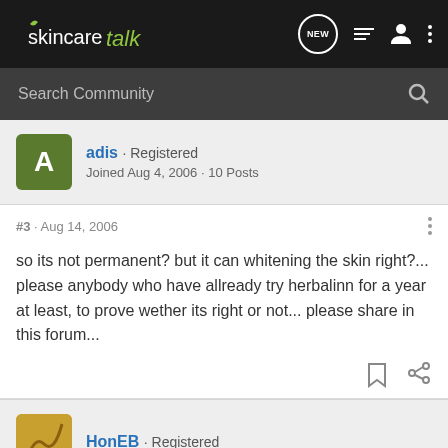skincaretalk
Search Community
adis · Registered
Joined Aug 4, 2006 · 10 Posts
#3 · Aug 14, 2006
so its not permanent? but it can whitening the skin right?... please anybody who have allready try herbalinn for a year at least, to prove wether its right or not... please share in this forum...
HonEB · Registered